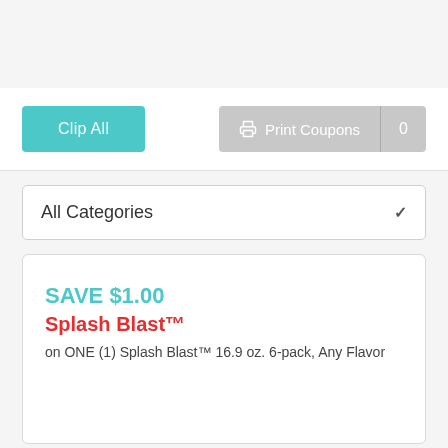[Figure (screenshot): Clip All button (teal) and Print Coupons button (gray) with count 0]
All Categories
SAVE $1.00
Splash Blast™
on ONE (1) Splash Blast™ 16.9 oz. 6-pack, Any Flavor
$1.00 OFF
Pure Life®